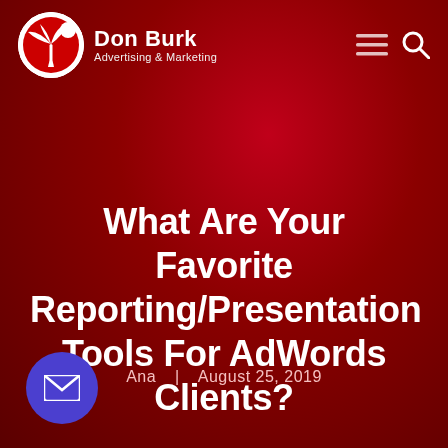Don Burk Advertising & Marketing
What Are Your Favorite Reporting/Presentation Tools For AdWords Clients?
Ana | August 25, 2019